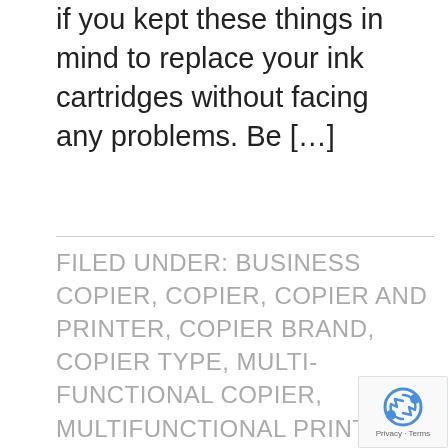if you kept these things in mind to replace your ink cartridges without facing any problems. Be […]
FILED UNDER: BUSINESS COPIER, COPIER, COPIER AND PRINTER, COPIER BRAND, COPIER TYPE, MULTI-FUNCTIONAL COPIER, MULTIFUNCTIONAL PRINTER, PRINTER BRAND
TAGGED WITH: CLEAR CHOICE TECHNICAL SERVICES, COPIER